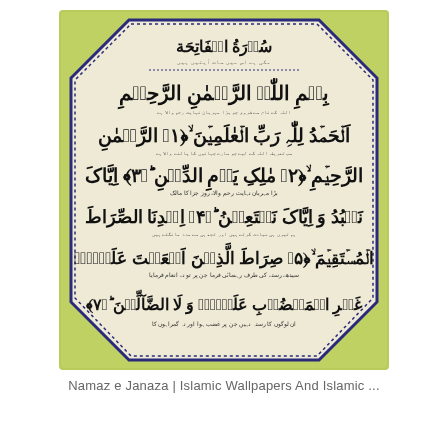[Figure (photo): A framed Islamic calligraphy poster showing Surah Al-Fatiha in Arabic script with Urdu translation, set within an octagonal border on a green decorative background. The text includes Bismillah and all 7 verses of Surah Al-Fatiha in large Arabic calligraphy with smaller Urdu commentary lines between each verse.]
Namaz e Janaza | Islamic Wallpapers And Islamic ...